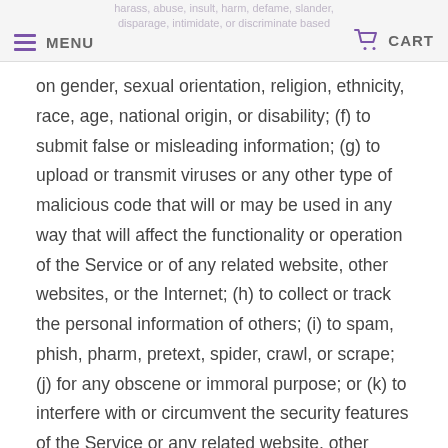harass, abuse, insult, harm, defame, slander, disparage, intimidate, or discriminate based | MENU | CART
on gender, sexual orientation, religion, ethnicity, race, age, national origin, or disability; (f) to submit false or misleading information; (g) to upload or transmit viruses or any other type of malicious code that will or may be used in any way that will affect the functionality or operation of the Service or of any related website, other websites, or the Internet; (h) to collect or track the personal information of others; (i) to spam, phish, pharm, pretext, spider, crawl, or scrape; (j) for any obscene or immoral purpose; or (k) to interfere with or circumvent the security features of the Service or any related website, other websites, or the Internet. We